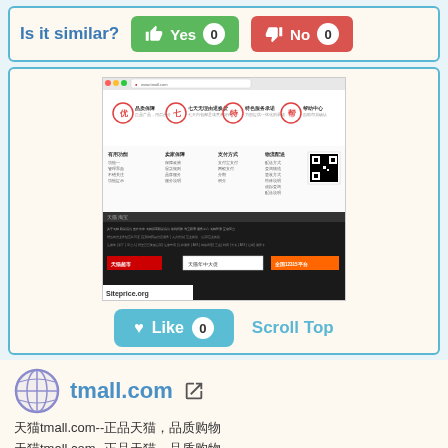Is it similar?
Yes 0
No 0
[Figure (screenshot): Screenshot of tmall.com website showing Chinese e-commerce page with white upper section containing icons and navigation, and black lower section with Chinese text and footer links. Siteprice.org watermark visible.]
Like 0
Scroll Top
tmall.com
天猫tmall.com--正品天猫，品质购物
天猫tmall.com--正品天猫，品质购物